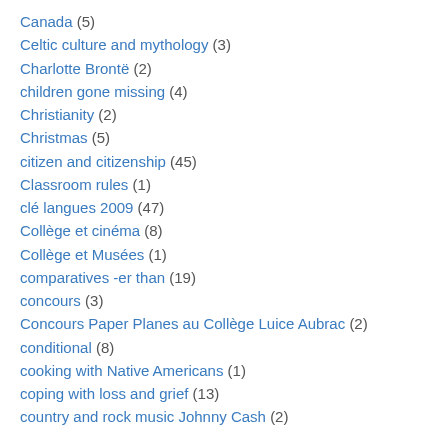Canada (5)
Celtic culture and mythology (3)
Charlotte Brontë (2)
children gone missing (4)
Christianity (2)
Christmas (5)
citizen and citizenship (45)
Classroom rules (1)
clé langues 2009 (47)
Collège et cinéma (8)
Collège et Musées (1)
comparatives -er than (19)
concours (3)
Concours Paper Planes au Collège Luice Aubrac (2)
conditional (8)
cooking with Native Americans (1)
coping with loss and grief (13)
country and rock music Johnny Cash (2)